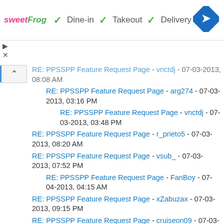[Figure (screenshot): Advertisement banner for sweetFrog with Dine-in, Takeout, Delivery options and navigation icon]
RE: PPSSPP Feature Request Page - vnctdj - 07-03-2013, 08:08 AM
RE: PPSSPP Feature Request Page - arg274 - 07-03-2013, 03:16 PM
RE: PPSSPP Feature Request Page - vnctdj - 07-03-2013, 03:48 PM
RE: PPSSPP Feature Request Page - r_prieto5 - 07-03-2013, 08:20 AM
RE: PPSSPP Feature Request Page - vsub_ - 07-03-2013, 07:52 PM
RE: PPSSPP Feature Request Page - FanBoy - 07-04-2013, 04:15 AM
RE: PPSSPP Feature Request Page - xZabuzax - 07-03-2013, 09:15 PM
RE: PPSSPP Feature Request Page - cruiseon09 - 07-03-2013, 11:40 PM
RE: PPSSPP Feature Request Page - Jamesborg - 07-04-2013, 12:17 AM
RE: PPSSPP Feature Request Page - TheDax - 07-04-2013, 12:27 AM
RE: PPSSPP Feature Request Page - Jamesborg - 07-04-2013, 01:48 AM
RE: PPSSPP Feature Request Page - Special - 07-04-2013, 12:30 AM